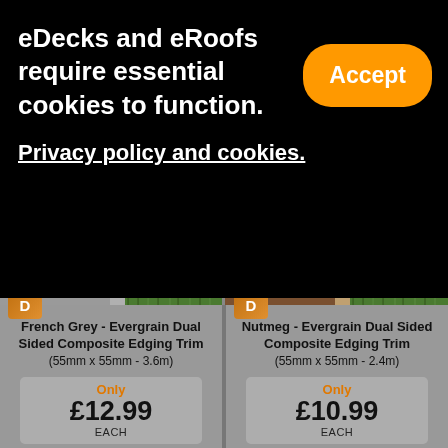eDecks and eRoofs require essential cookies to function.
Accept
Privacy policy and cookies.
[Figure (photo): Product image: French Grey Evergrain Dual Sided Composite Edging Trim, showing decking next to green artificial grass]
[Figure (photo): Product image: Nutmeg Evergrain Dual Sided Composite Edging Trim, showing brown decking next to green artificial grass]
French Grey - Evergrain Dual Sided Composite Edging Trim (55mm x 55mm - 3.6m)
Only £12.99 EACH
Nutmeg - Evergrain Dual Sided Composite Edging Trim (55mm x 55mm - 2.4m)
Only £10.99 EACH